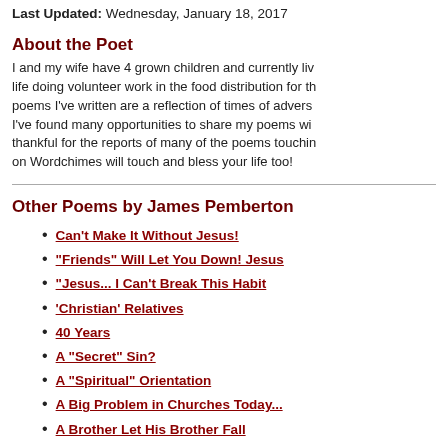Last Updated: Wednesday, January 18, 2017
About the Poet
I and my wife have 4 grown children and currently liv life doing volunteer work in the food distribution for th poems I've written are a reflection of times of advers I've found many opportunities to share my poems wi thankful for the reports of many of the poems touchin on Wordchimes will touch and bless your life too!
Other Poems by James Pemberton
Can't Make It Without Jesus!
"Friends" Will Let You Down! Jesus
"Jesus... I Can't Break This Habit
'Christian' Relatives
40 Years
A "Secret" Sin?
A "Spiritual" Orientation
A Big Problem in Churches Today...
A Brother Let His Brother Fall
A Brother Offended...
A Christian Coward?
A Christian in Name Only???
A Compromising Christian?
A Confused and Lost Generation
A Dad's Hurting Heart...
A Day at Work...
A Day With Jesus!
A Day With Jesus